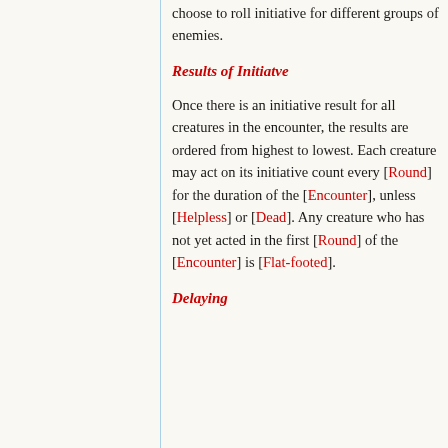choose to roll initiative for different groups of enemies.
Results of Initiatve
Once there is an initiative result for all creatures in the encounter, the results are ordered from highest to lowest. Each creature may act on its initiative count every [Round] for the duration of the [Encounter], unless [Helpless] or [Dead]. Any creature who has not yet acted in the first [Round] of the [Encounter] is [Flat-footed].
Delaying